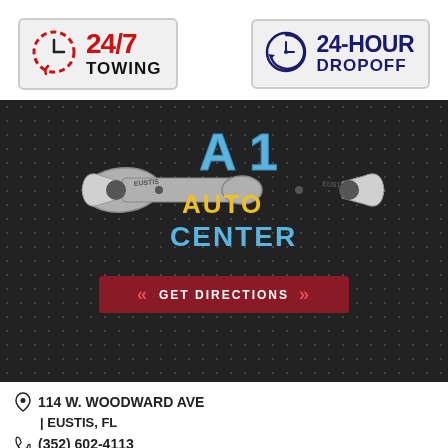[Figure (logo): 24/7 Towing badge with chain-circle clock icon, red 24/7 text and black TOWING text]
[Figure (logo): 24-Hour Dropoff badge with dark blue clock-arrow icon, navy 24-HOUR and DROPOFF text]
[Figure (logo): A1 Auto Center Eustis logo on dark hexagon-pattern background with wrench graphic, A1 in blue, AUTO in yellow, CENTER in cyan, Get Directions red button]
114 W. WOODWARD AVE
| EUSTIS, FL
(352) 602-4113